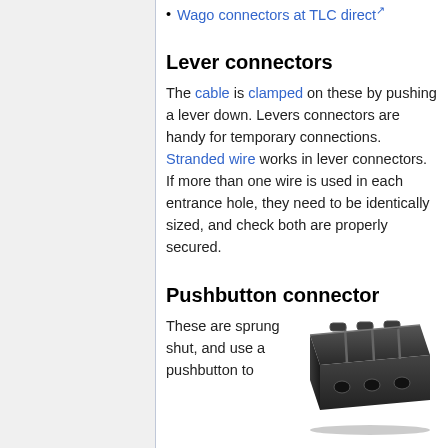Wago connectors at TLC direct
Lever connectors
The cable is clamped on these by pushing a lever down. Levers connectors are handy for temporary connections. Stranded wire works in lever connectors. If more than one wire is used in each entrance hole, they need to be identically sized, and check both are properly secured.
Pushbutton connector
These are sprung shut, and use a pushbutton to
[Figure (photo): A dark grey/black pushbutton wire connector block with multiple holes and lever mechanisms, viewed from an angle.]